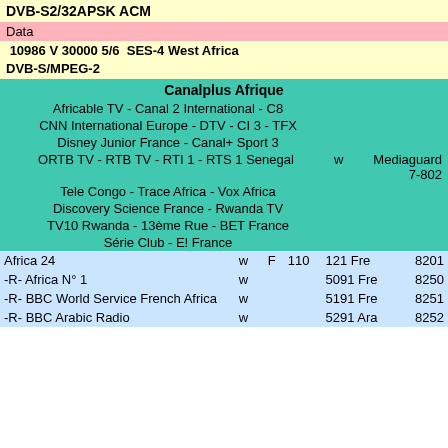DVB-S2/32APSK ACM
Data
10986 V 30000 5/6  SES-4 West Africa
DVB-S/MPEG-2
| Channel | Flags | Col1 | Col2 | Lang | Code |
| --- | --- | --- | --- | --- | --- |
| Canalplus Afrique |  |  |  |  |  |
| Africable TV - Canal 2 International - C8 |  |  |  |  |  |
| CNN International Europe - DTV - CI 3 - TFX |  |  |  |  |  |
| Disney Junior France - Canal+ Sport 3 |  |  |  |  |  |
| ORTB TV - RTB TV - RTI 1 - RTS 1 Senegal | w |  |  |  | Mediaguard 7-802 |
| Tele Congo - Trace Africa - Vox Africa |  |  |  |  |  |
| Discovery Science France - Rwanda TV |  |  |  |  |  |
| TV10 Rwanda - 13ème Rue - BET France |  |  |  |  |  |
| Série Club - E! France |  |  |  |  |  |
| Africa 24 | w F | 110 | 121 Fre |  | 8201 |
| -R- Africa N° 1 | w |  | 5091 Fre |  | 8250 |
| -R- BBC World Service French Africa | w |  | 5191 Fre |  | 8251 |
| -R- BBC Arabic Radio | w |  | 5291 Ara |  | 8252 |